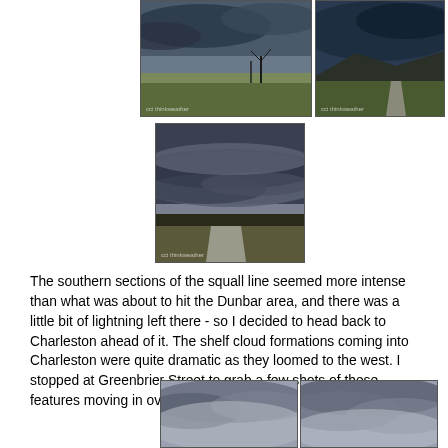[Figure (photo): Two side-by-side landscape photos showing dark storm clouds over a rural area with bare trees and green fields. Left photo shows a wide valley view; right photo shows a road and hills under dark sky.]
[Figure (photo): A single centered landscape photo showing dramatic dark shelf clouds over a rural road cutting through fields and wooded hills.]
The southern sections of the squall line seemed more intense than what was about to hit the Dunbar area, and there was a little bit of lightning left there - so I decided to head back to Charleston ahead of it. The shelf cloud formations coming into Charleston were quite dramatic as they loomed to the west. I stopped at Greenbrier Street to grab a few shots of these features moving in over downtown:
[Figure (photo): Two side-by-side photos at the bottom of the page showing dramatic shelf clouds — gray and white billowing clouds against a lighter sky, taken from a street level view looking up.]